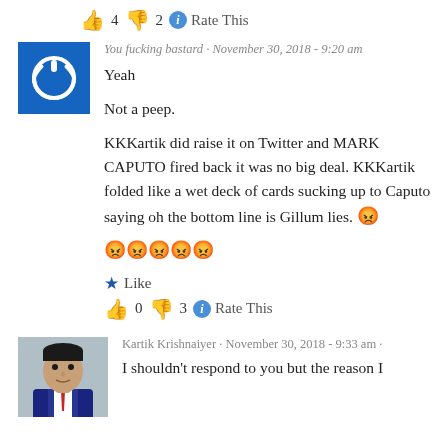👍 4 👎 2 ℹ Rate This
You fucking bastard · November 30, 2018 - 9:20 am
Yeah

Not a peep.

KKKartik did raise it on Twitter and MARK CAPUTO fired back it was no big deal. KKKartik folded like a wet deck of cards sucking up to Caputo saying oh the bottom line is Gillum lies. 😡😡😡😡😡😡
★ Like
👍 0 👎 3 ℹ Rate This
Kartik Krishnaiyer · November 30, 2018 - 9:33 am
I shouldn't respond to you but the reason I